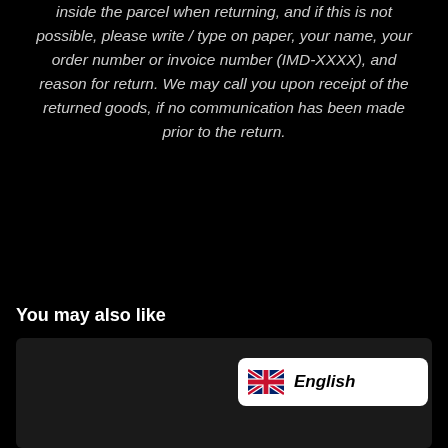inside the parcel when returning, and if this is not possible, please write / type on paper, your name, your order number or invoice number (IMD-XXXX), and reason for return. We may call you upon receipt of the returned goods, if no communication has been made prior to the return.
You may also like
[Figure (other): A card/product area with a language selector showing UK flag and 'English' label on white rounded button]